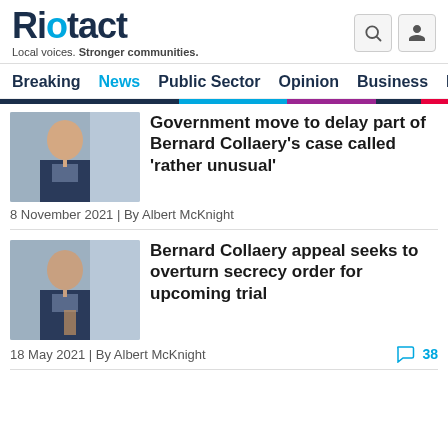Riotact — Local voices. Stronger communities.
Breaking | News | Public Sector | Opinion | Business | R
Government move to delay part of Bernard Collaery's case called 'rather unusual'
8 November 2021 | By Albert McKnight
Bernard Collaery appeal seeks to overturn secrecy order for upcoming trial
18 May 2021 | By Albert McKnight